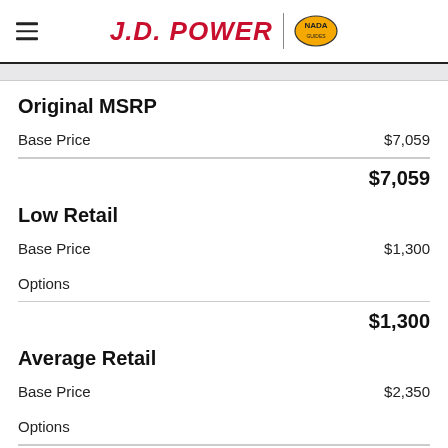J.D. POWER | NADA
Original MSRP
|  |  |
| --- | --- |
| Base Price | $7,059 |
|  | $7,059 |
Low Retail
|  |  |
| --- | --- |
| Base Price | $1,300 |
| Options |  |
|  | $1,300 |
Average Retail
|  |  |
| --- | --- |
| Base Price | $2,350 |
| Options |  |
|  | $2,350 |